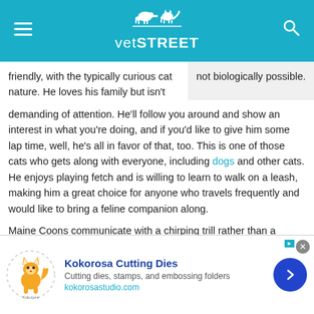vetSTREET
friendly, with the typically curious cat nature. He loves his family but isn't demanding of attention. He'll follow you around and show an interest in what you're doing, and if you'd like to give him some lap time, well, he's all in favor of that, too. This is one of those cats who gets along with everyone, including dogs and other cats. He enjoys playing fetch and is willing to learn to walk on a leash, making him a great choice for anyone who travels frequently and would like to bring a feline companion along.
not biologically possible.
Maine Coons communicate with a chirping trill rather than a meow, an
This site uses cookies as described in our Cookie Policy. Please click
[Figure (other): Kokorosa Cutting Dies advertisement banner with fox logo, title 'Kokorosa Cutting Dies', description 'Cutting dies, stamps, and embossing folders', URL 'kokorosastudio.com', and a blue circular arrow button]